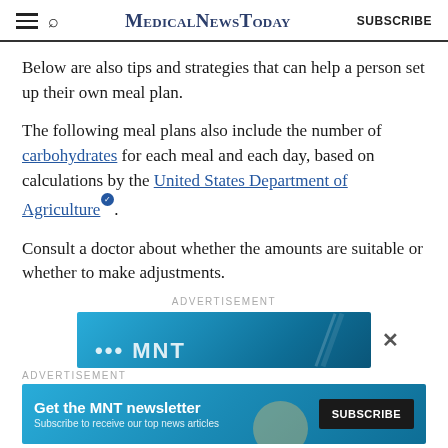MedicalNewsToday | SUBSCRIBE
Below are also tips and strategies that can help a person set up their own meal plan.
The following meal plans also include the number of carbohydrates for each meal and each day, based on calculations by the United States Department of Agriculture. .
Consult a doctor about whether the amounts are suitable or whether to make adjustments.
ADVERTISEMENT
[Figure (screenshot): Blue advertisement banner with partial white bold text visible]
ADVERTISEMENT
[Figure (screenshot): MNT newsletter subscription banner: 'Get the MNT newsletter - Subscribe to receive our top news articles' with SUBSCRIBE button]